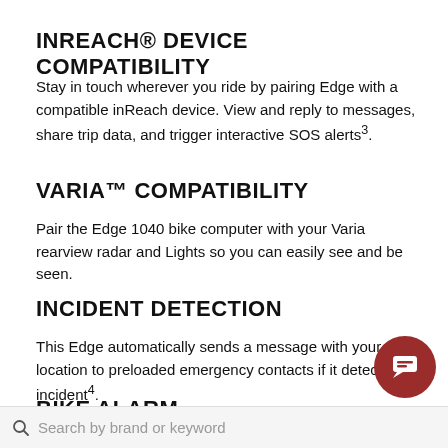INREACH® DEVICE COMPATIBILITY
Stay in touch wherever you ride by pairing Edge with a compatible inReach device. View and reply to messages, share trip data, and trigger interactive SOS alerts³.
VARIA™ COMPATIBILITY
Pair the Edge 1040 bike computer with your Varia rearview radar and Lights so you can easily see and be seen.
INCIDENT DETECTION
This Edge automatically sends a message with your location to preloaded emergency contacts if it detects an incident⁴.
BIKE ALARM
The PIN protected bike alarm will notify you on your smartphone…ke